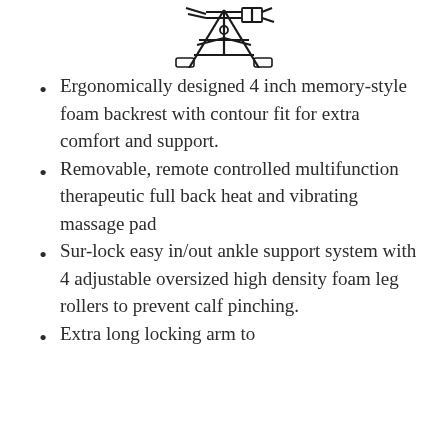[Figure (illustration): Partial illustration of an inversion table or fitness equipment, showing frame/mechanical parts at top of page]
Ergonomically designed 4 inch memory-style foam backrest with contour fit for extra comfort and support.
Removable, remote controlled multifunction therapeutic full back heat and vibrating massage pad
Sur-lock easy in/out ankle support system with 4 adjustable oversized high density foam leg rollers to prevent calf pinching.
Extra long locking arm to